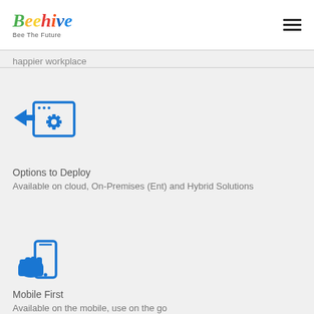Beehive — Bee The Future
happier workplace
[Figure (illustration): Blue icon of a computer window with a gear/settings cog symbol and an arrow pointing into it, representing deployment options.]
Options to Deploy
Available on cloud, On-Premises (Ent) and Hybrid Solutions
[Figure (illustration): Blue icon of a hand holding a mobile/tablet device, representing mobile-first usage.]
Mobile First
Available on the mobile, use on the go